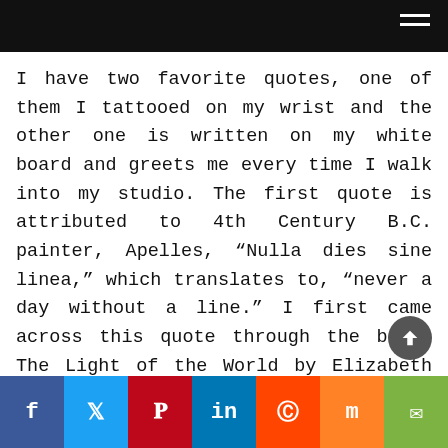I have two favorite quotes, one of them I tattooed on my wrist and the other one is written on my white board and greets me every time I walk into my studio. The first quote is attributed to 4th Century B.C. painter, Apelles, “Nulla dies sine linea,” which translates to, “never a day without a line.” I first came across this quote through the book, The Light of the World by Elizabeth Alexander. This memoir was a tribute to Alexander’s late husband who was an amateur painter and lived by this quote. Aside from the book itself being deeply impactful, I love the idea of ridding yourself from the pressure of having to create something amazing